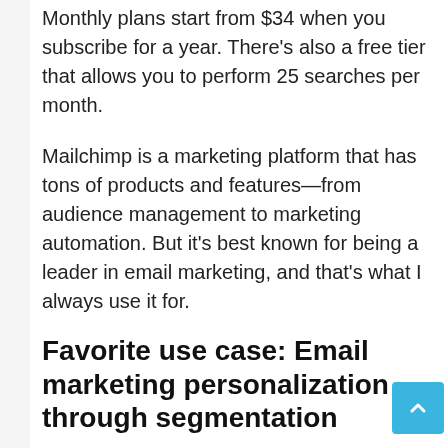Monthly plans start from $34 when you subscribe for a year. There’s also a free tier that allows you to perform 25 searches per month.
Mailchimp is a marketing platform that has tons of products and features—from audience management to marketing automation. But it’s best known for being a leader in email marketing, and that’s what I always use it for.
Favorite use case: Email marketing personalization through segmentation
If you’re growing a newsletter, then you know